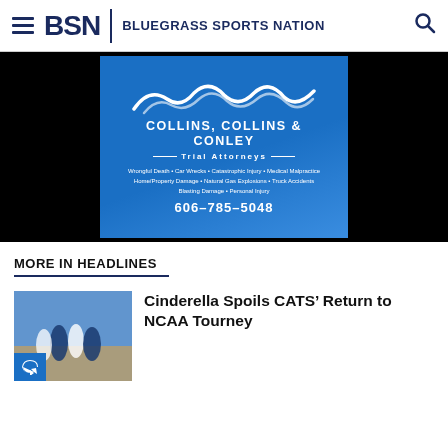BSN | Bluegrass Sports Nation
[Figure (illustration): Collins, Collins & Conley Trial Attorneys advertisement banner with mountain wave logo, services list, and phone number 606-785-5048]
MORE IN HEADLINES
[Figure (photo): Basketball game action photo showing players on court]
Cinderella Spoils CATS' Return to NCAA Tourney